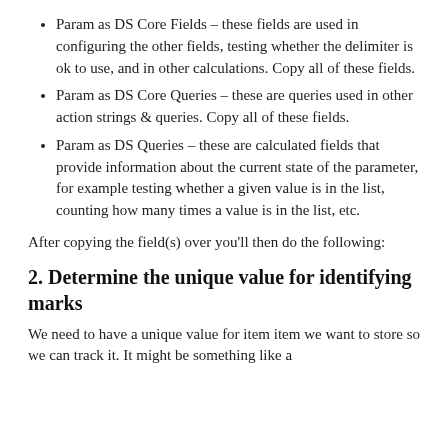Param as DS Core Fields – these fields are used in configuring the other fields, testing whether the delimiter is ok to use, and in other calculations. Copy all of these fields.
Param as DS Core Queries – these are queries used in other action strings & queries. Copy all of these fields.
Param as DS Queries – these are calculated fields that provide information about the current state of the parameter, for example testing whether a given value is in the list, counting how many times a value is in the list, etc.
After copying the field(s) over you'll then do the following:
2. Determine the unique value for identifying marks
We need to have a unique value for item item we want to store so we can track it. It might be something like a